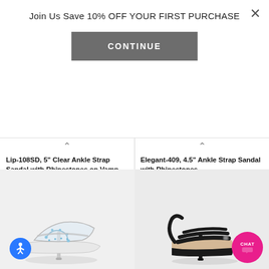Join Us Save 10% OFF YOUR FIRST PURCHASE
CONTINUE
Lip-108SD, 5" Clear Ankle Strap Sandal with Rhinestones on Vamp
Fabulicious
$68.95
Elegant-409, 4.5" Ankle Strap Sandal with Rhinestones
Fabulicious
$39.95
[Figure (photo): Clear ankle strap high heel sandal with rhinestone embellishments on vamp, transparent platform]
[Figure (photo): Black patent ankle strap high heel sandal with multiple straps across the vamp]